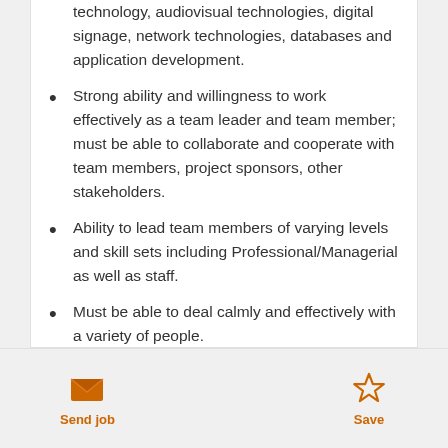technology, audiovisual technologies, digital signage, network technologies, databases and application development.
Strong ability and willingness to work effectively as a team leader and team member; must be able to collaborate and cooperate with team members, project sponsors, other stakeholders.
Ability to lead team members of varying levels and skill sets including Professional/Managerial as well as staff.
Must be able to deal calmly and effectively with a variety of people.
[Figure (infographic): Send job button with envelope icon (orange) and Save button with star icon (orange outline)]